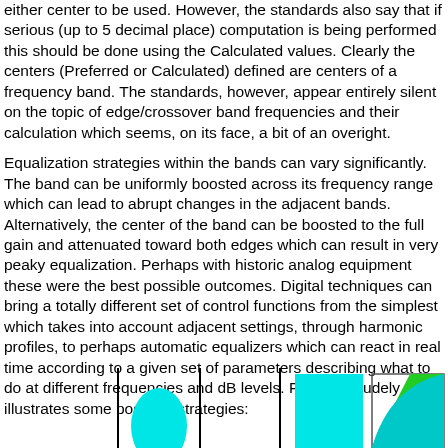either center to be used. However, the standards also say that if serious (up to 5 decimal place) computation is being performed this should be done using the Calculated values. Clearly the centers (Preferred or Calculated) defined are centers of a frequency band. The standards, however, appear entirely silent on the topic of edge/crossover band frequencies and their calculation which seems, on its face, a bit of an overight.
Equalization strategies within the bands can vary significantly. The band can be uniformly boosted across its frequency range which can lead to abrupt changes in the adjacent bands. Alternatively, the center of the band can be boosted to the full gain and attenuated toward both edges which can result in very peaky equalization. Perhaps with historic analog equipment these were the best possible outcomes. Digital techniques can bring a totally different set of control functions from the simplest which takes into account adjacent settings, through harmonic profiles, to perhaps automatic equalizers which can react in real time according to a given set of parameters describing what to do at different frequencies and dB levels. Figure 1 crudely illustrates some possible strategies:
[Figure (illustration): Partial view of Figure 1 showing diagrams of equalization strategies: vertical lines indicating band boundaries, a cyan/teal bell-curve shape, a cyan rectangle, and a rectangle with a green/cyan diagonal curve shape.]